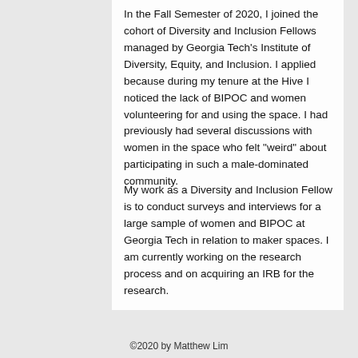In the Fall Semester of 2020, I joined the cohort of Diversity and Inclusion Fellows managed by Georgia Tech's Institute of Diversity, Equity, and Inclusion. I applied because during my tenure at the Hive I noticed the lack of BIPOC and women volunteering for and using the space. I had previously had several discussions with women in the space who felt "weird" about participating in such a male-dominated community.
My work as a Diversity and Inclusion Fellow is to conduct surveys and interviews for a large sample of women and BIPOC at Georgia Tech in relation to maker spaces. I am currently working on the research process and on acquiring an IRB for the research.
©2020 by Matthew Lim